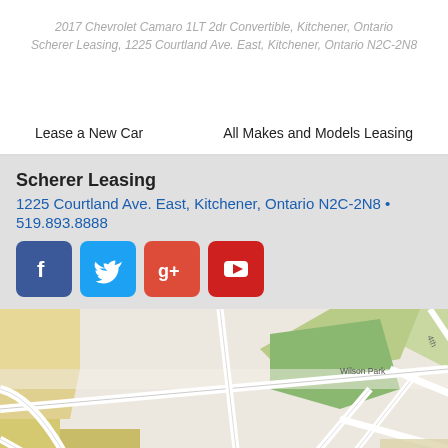2017 Chevrolet Camaro 1LT 2dr Convertible, Kitchener, Ontario
Scherer Leasing, 1225 Courtland Ave. East, Kitchener, Ontario N2C-2N8
Lease a New Car
All Makes and Models Leasing
Scherer Leasing
1225 Courtland Ave. East, Kitchener, Ontario N2C-2N8 • 519.893.8888
[Figure (map): Google map showing area around 1225 Courtland Ave. East, Kitchener, Ontario, with streets labeled: 4th, Frank, Wilson Park, Greenfield Ave, Wilson Ave, Clark Ave, Vanier Dr, Lennox, Fairvi... (Fairview), and other street names visible.]